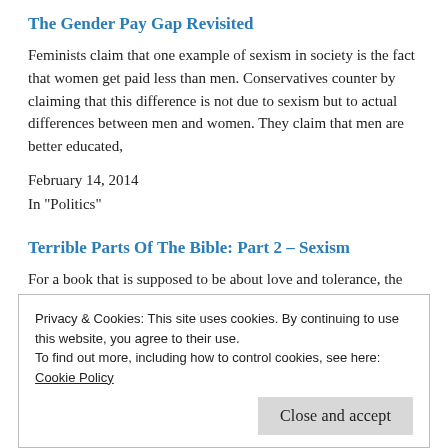The Gender Pay Gap Revisited
Feminists claim that one example of sexism in society is the fact that women get paid less than men. Conservatives counter by claiming that this difference is not due to sexism but to actual differences between men and women. They claim that men are better educated,
February 14, 2014
In "Politics"
Terrible Parts Of The Bible: Part 2 – Sexism
For a book that is supposed to be about love and tolerance, the Bible contains an incredible amount of
Privacy & Cookies: This site uses cookies. By continuing to use this website, you agree to their use.
To find out more, including how to control cookies, see here:
Cookie Policy
Close and accept